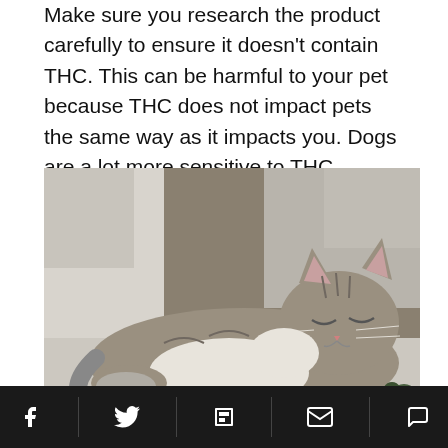Make sure you research the product carefully to ensure it doesn't contain THC. This can be harmful to your pet because THC does not impact pets the same way as it impacts you. Dogs are a lot more sensitive to THC because they possess a larger number of cannabinoid receptors.
[Figure (photo): A tabby cat lying on a white chair, eyes closed, appearing relaxed or sleepy.]
Social share bar with Facebook, Twitter, Flipboard, Email, and Comment icons